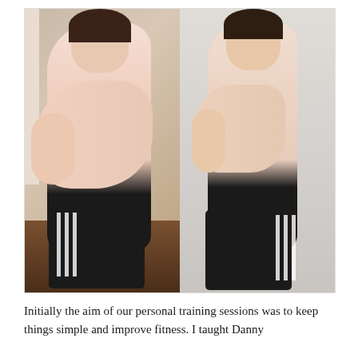[Figure (photo): Before and after side-profile photos of a man. Left photo shows a heavier man in a room with wooden floor, wearing black Adidas shorts. Right photo shows the same man noticeably slimmer, against a white wall, wearing black Adidas shorts.]
Initially the aim of our personal training sessions was to keep things simple and improve fitness. I taught Danny